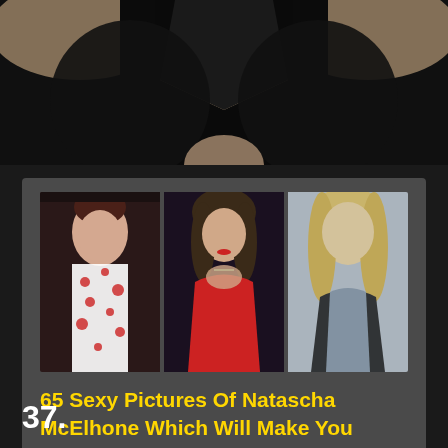[Figure (photo): Cropped photo of a person in a black outfit, showing torso with V-neckline against dark background]
[Figure (photo): Collage of three photos of Natascha McElhone: left photo shows young woman in floral strapless dress, middle photo shows woman in red dress with dark curly hair, right photo shows blonde woman in black blazer]
65 Sexy Pictures Of Natascha McElhone Which Will Make You Swelter All Over
37.